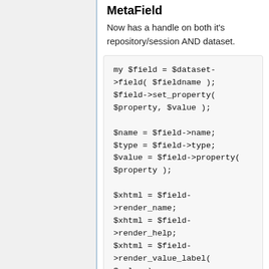MetaField
Now has a handle on both it's repository/session AND dataset.
my $field = $dataset->field( $fieldname );
$field->set_property( $property, $value );

$name = $field->name;
$type = $field->type;
$value = $field->property( $property );

$xhtml = $field->render_name;
$xhtml = $field->render_help;
$xhtml = $field->render_value_label( $value );

$values = $field-